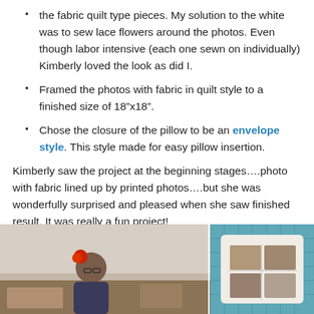the fabric quilt type pieces. My solution to the white was to sew lace flowers around the photos. Even though labor intensive (each one sewn on individually) Kimberly loved the look as did I.
Framed the photos with fabric in quilt style to a finished size of 18"x18".
Chose the closure of the pillow to be an envelope style. This style made for easy pillow insertion.
Kimberly saw the project at the beginning stages….photo with fabric lined up by printed photos….but she was wonderfully surprised and pleased when she saw finished result. It was really a fun project!
[Figure (photo): Two photos side by side at the bottom of the page. Left photo shows a woman with a red flower in her hair sitting at a crafting table. Right photo shows a white pillow with printed photos arranged in a quilt style on a blue cutting mat.]